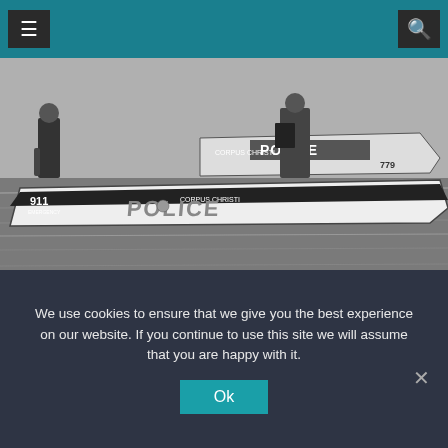Navigation bar with menu and search icons
[Figure (photo): Black and white photograph of Corpus Christi Police boats on water with officers standing and working on the vessels. The boats are labeled CORPUS CHRISTI POLICE and show number 779.]
Man’s body found in ship channel
Dan Parker
We use cookies to ensure that we give you the best experience on our website. If you continue to use this site we will assume that you are happy with it.